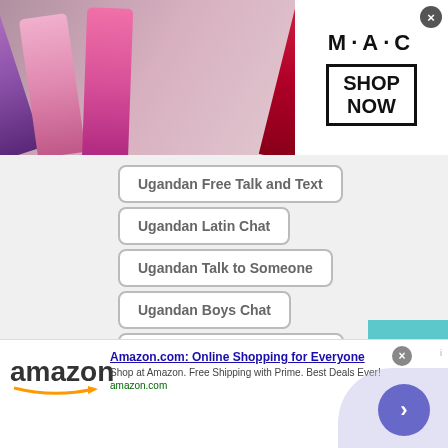[Figure (screenshot): MAC cosmetics advertisement banner with lipsticks and 'SHOP NOW' button]
Ugandan Free Talk and Text
Ugandan Latin Chat
Ugandan Talk to Someone
Ugandan Boys Chat
Ugandan Make New Friends
Ugandan Talk to Girls
Ugandan Free Online Chat
[Figure (screenshot): Amazon.com advertisement banner: 'Amazon.com: Online Shopping for Everyone']